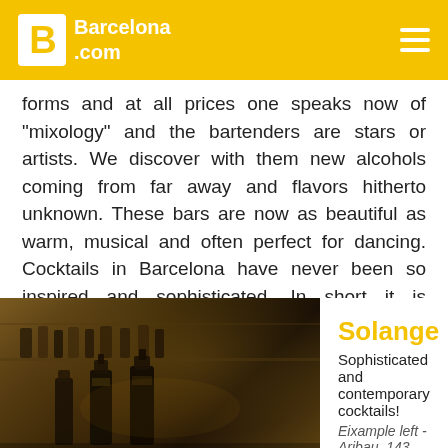Barcelona.com
forms and at all prices one speaks now of "mixology" and the bartenders are stars or artists. We discover with them new alcohols coming from far away and flavors hitherto unknown. These bars are now as beautiful as warm, musical and often perfect for dancing. Cocktails in Barcelona have never been so inspired and sophisticated. In short it is impossible to imagine an evening in Barcelona without discovering these places. If the trend 2017 is to "clandestine" bars here we mention 4 of our favorites. In complete confidence!
[Figure (photo): Dark bar interior with bottles and warm amber lighting]
Solange
Sophisticated and contemporary cocktails!
Eixample left - Aribau, 143